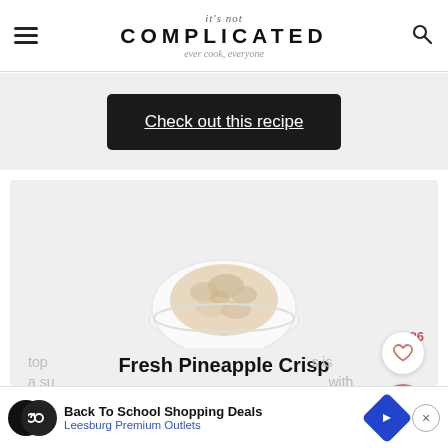it's not COMPLICATED — ever cook, everyone
[Figure (screenshot): Check out this recipe button in dark background]
[Figure (photo): Bowl of Fresh Pineapple Crisp on white plate]
Fresh Pineapple Crisp
Enjoy the flavours of delicious, juicy pineapple, combined with a crumbly, crisp top
[Figure (infographic): Advertisement: Back To School Shopping Deals — Leesburg Premium Outlets]